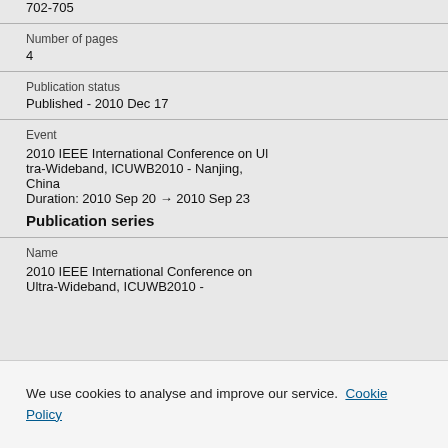702-705
Number of pages
4
Publication status
Published - 2010 Dec 17
Event
2010 IEEE International Conference on Ultra-Wideband, ICUWB2010 - Nanjing, China
Duration: 2010 Sep 20 → 2010 Sep 23
Publication series
Name
2010 IEEE International Conference on Ultra-Wideband, ICUWB2010 -
We use cookies to analyse and improve our service. Cookie Policy